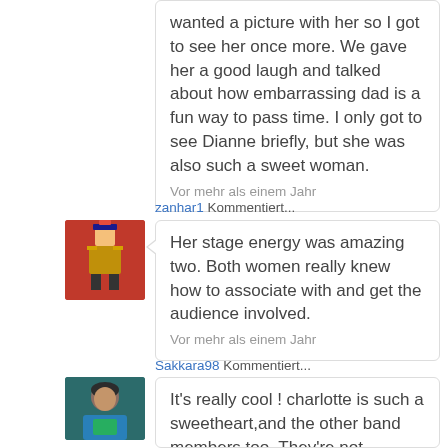wanted a picture with her so I got to see her once more. We gave her a good laugh and talked about how embarrassing dad is a fun way to pass time. I only got to see Dianne briefly, but she was also such a sweet woman.
Vor mehr als einem Jahr
zanhar1 Kommentiert...
[Figure (photo): Avatar of user zanhar1 showing a pixel-art style figure in a red and gold costume on red background]
Her stage energy was amazing two. Both women really knew how to associate with and get the audience involved.
Vor mehr als einem Jahr
Sakkara98 Kommentiert...
[Figure (photo): Avatar of user Sakkara98 showing a person with dark hair wearing a teal/green top]
It's really cool ! charlotte is such a sweetheart,and the other band members too. They're not Schauspielen like superstars,and it's really mature I think.
Vor mehr als einem Jahr
zanhar1 sagte